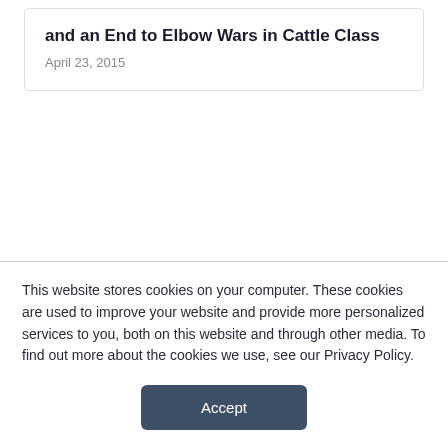and an End to Elbow Wars in Cattle Class
April 23, 2015
This website stores cookies on your computer. These cookies are used to improve your website and provide more personalized services to you, both on this website and through other media. To find out more about the cookies we use, see our Privacy Policy.
Accept